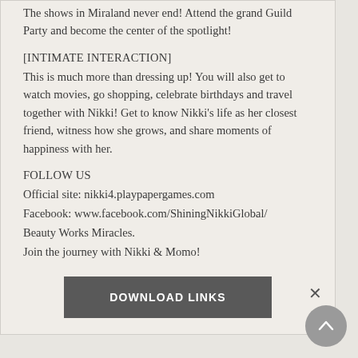The shows in Miraland never end! Attend the grand Guild Party and become the center of the spotlight!
[INTIMATE INTERACTION]
This is much more than dressing up! You will also get to watch movies, go shopping, celebrate birthdays and travel together with Nikki! Get to know Nikki's life as her closest friend, witness how she grows, and share moments of happiness with her.
FOLLOW US
Official site: nikki4.playpapergames.com
Facebook: www.facebook.com/ShiningNikkiGlobal/
Beauty Works Miracles.
Join the journey with Nikki & Momo!
DOWNLOAD LINKS